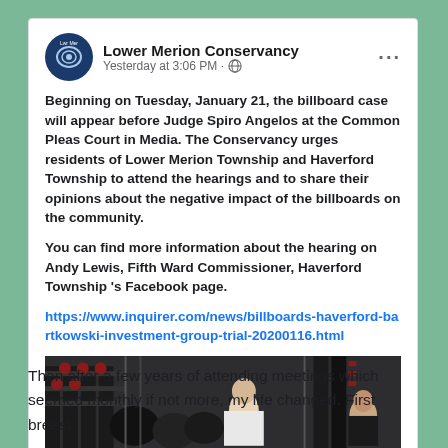[Figure (screenshot): Facebook post from Lower Merion Conservancy with organizational logo, timestamp 'Yesterday at 3:06 PM', post text about billboard case, a link to inquirer.com, and a photo of people in what appears to be a fire station or equipment room.]
Then after a few years of attending meetings which seemed monthly if not more, my life changed. First breast